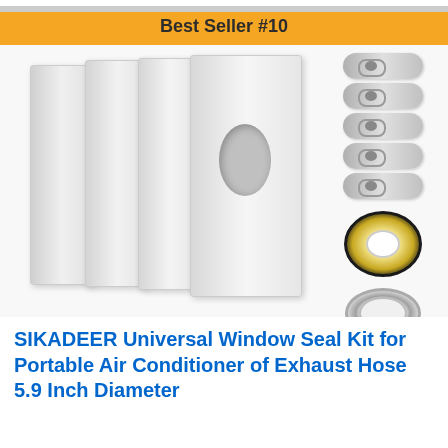Best Seller #10
[Figure (photo): Product photo of SIKADEER Universal Window Seal Kit showing white sliding window panels (4 panels, one with oval hose hole), 5 wing-nut screws, a roll of black foam tape with yellow backing, and a white hose adapter ring, all on a light background.]
SIKADEER Universal Window Seal Kit for Portable Air Conditioner of Exhaust Hose 5.9 Inch Diameter